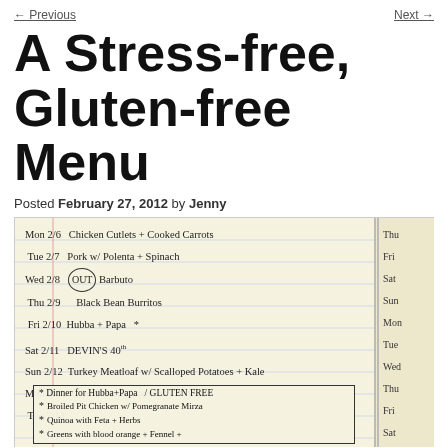← Previous   Next →
A Stress-free, Gluten-free Menu
Posted February 27, 2012 by Jenny
[Figure (photo): Handwritten notebook page showing a weekly gluten-free meal plan. Entries include: Mon 2/6 Chicken Cutlets + Cooked Carrots, Tue 2/7 Pork w/ Polenta + Spinach, Wed 2/8 OUT Barbuto, Thu 2/9 Black Bean Burritos, Fri 2/10 Hubba + Papa, Sat 2/11 DEVIN'S 40th, Sun 2/12 Turkey Meatloaf w/ Scalloped Potatoes + Kale, Mon 2/13 Cold Sesame Noodles Salad, Tue 2/14. A boxed note at the bottom reads: * Dinner for Hubba+Papa / GLUTEN FREE with bullet items: Broiled Pit Chicken w/ Pomegranate Mirza, Quinoa with Feta + Herbs, Greens with blood orange + Fennel +. Right side shows partial dates: Thu, Fri, Sat, Sun, Mon, Tue, Wed, Thu, Fri, Sat.]